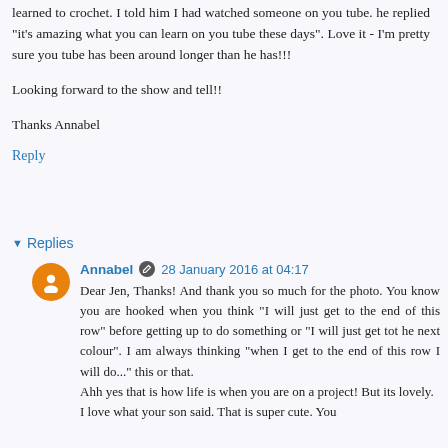learned to crochet. I told him I had watched someone on you tube. he replied "it's amazing what you can learn on you tube these days". Love it - I'm pretty sure you tube has been around longer than he has!!!
Looking forward to the show and tell!!
Thanks Annabel
Reply
▾ Replies
Annabel  28 January 2016 at 04:17
Dear Jen, Thanks! And thank you so much for the photo. You know you are hooked when you think "I will just get to the end of this row" before getting up to do something or "I will just get tot he next colour". I am always thinking "when I get to the end of this row I will do..." this or that.
Ahh yes that is how life is when you are on a project! But its lovely.
I love what your son said. That is super cute. You